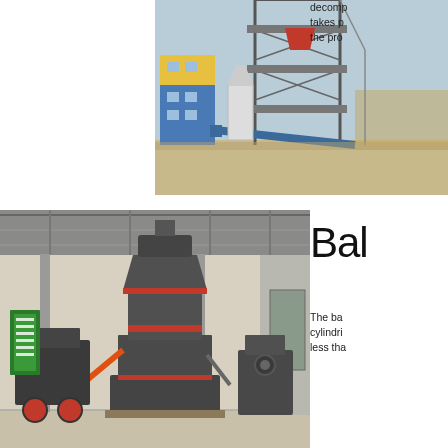[Figure (photo): Outdoor industrial facility with a tall metal tower structure (grinding/milling plant), conveyor belt, and a colorful building (blue and yellow) in the background. Clear sky, winter setting.]
decomp takes p the pro
[Figure (photo): Indoor factory/workshop showing large industrial milling machines (vertical roller mill / Raymond mill) in dark grey color with red accents, inside a steel-frame warehouse building.]
Bal
The ba cylindri less tha